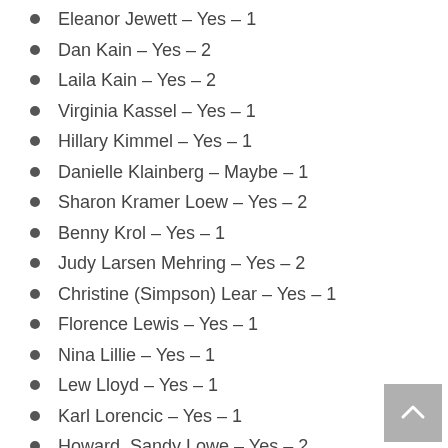Eleanor Jewett – Yes – 1
Dan Kain – Yes – 2
Laila Kain – Yes – 2
Virginia Kassel – Yes – 1
Hillary Kimmel – Yes – 1
Danielle Klainberg – Maybe – 1
Sharon Kramer Loew – Yes – 2
Benny Krol – Yes – 1
Judy Larsen Mehring – Yes – 2
Christine (Simpson) Lear – Yes – 1
Florence Lewis – Yes – 1
Nina Lillie – Yes – 1
Lew Lloyd – Yes – 1
Karl Lorencic – Yes – 1
Howard, Sandy Lowe – Yes – 2